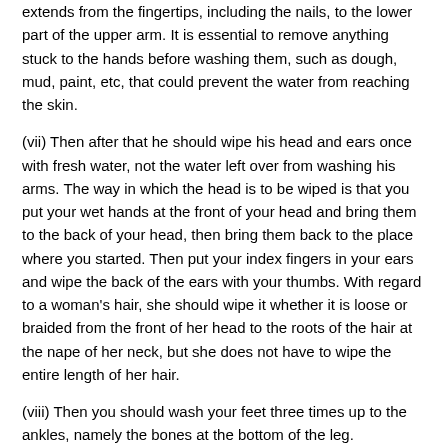extends from the fingertips, including the nails, to the lower part of the upper arm. It is essential to remove anything stuck to the hands before washing them, such as dough, mud, paint, etc, that could prevent the water from reaching the skin.
(vii) Then after that he should wipe his head and ears once with fresh water, not the water left over from washing his arms. The way in which the head is to be wiped is that you put your wet hands at the front of your head and bring them to the back of your head, then bring them back to the place where you started. Then put your index fingers in your ears and wipe the back of the ears with your thumbs. With regard to a woman's hair, she should wipe it whether it is loose or braided from the front of her head to the roots of the hair at the nape of her neck, but she does not have to wipe the entire length of her hair.
(viii) Then you should wash your feet three times up to the ankles, namely the bones at the bottom of the leg.
The evidence for that is the hadeeth narrated by Humraan the freed slave of 'Uthmaan, who said that 'Uthmaan ibn 'Affaan (may Allaah be pleased with him) called for water to do wudoo'. He washed his hands three times, then he rinsed his mouth and nose, then he washed his face three times, then he washed his right arm three times up to the elbow, then he washed